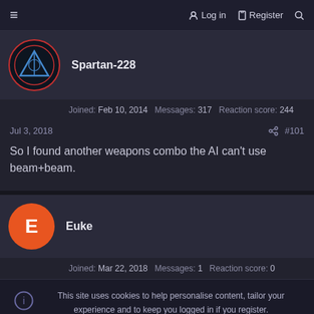≡   Log in   Register   🔍
Spartan-228
Joined: Feb 10, 2014  Messages: 317  Reaction score: 244
Jul 3, 2018  #101
So I found another weapons combo the AI can't use beam+beam.
Euke
Joined: Mar 22, 2018  Messages: 1  Reaction score: 0
This site uses cookies to help personalise content, tailor your experience and to keep you logged in if you register. By continuing to use this site, you are consenting to our use of cookies.
✓ Accept   Learn more...